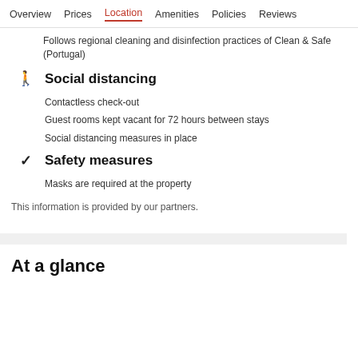Overview  Prices  Location  Amenities  Policies  Reviews
Follows regional cleaning and disinfection practices of Clean & Safe (Portugal)
Social distancing
Contactless check-out
Guest rooms kept vacant for 72 hours between stays
Social distancing measures in place
Safety measures
Masks are required at the property
This information is provided by our partners.
At a glance